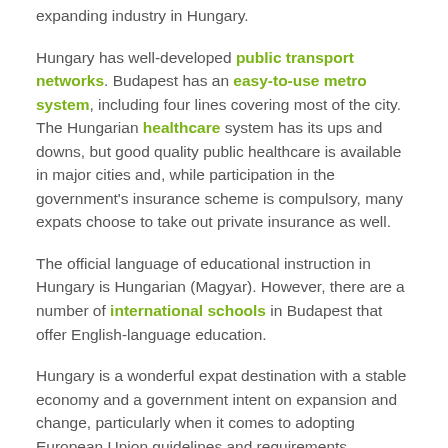expanding industry in Hungary.
Hungary has well-developed public transport networks. Budapest has an easy-to-use metro system, including four lines covering most of the city. The Hungarian healthcare system has its ups and downs, but good quality public healthcare is available in major cities and, while participation in the government's insurance scheme is compulsory, many expats choose to take out private insurance as well.
The official language of educational instruction in Hungary is Hungarian (Magyar). However, there are a number of international schools in Budapest that offer English-language education.
Hungary is a wonderful expat destination with a stable economy and a government intent on expansion and change, particularly when it comes to adopting European Union guidelines and requirements.
Hungary has a continental climate, with warm summers